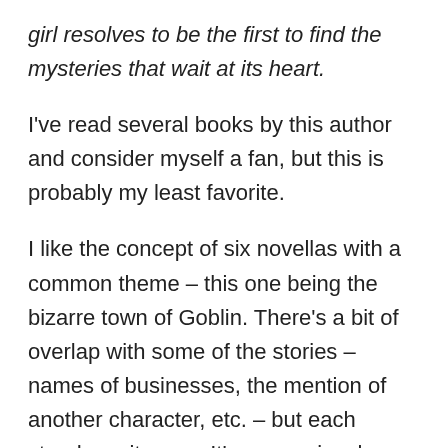girl resolves to be the first to find the mysteries that wait at its heart.
I've read several books by this author and consider myself a fan, but this is probably my least favorite.
I like the concept of six novellas with a common theme – this one being the bizarre town of Goblin. There's a bit of overlap with some of the stories – names of businesses, the mention of another character, etc. – but each stands on its own. It's one seriously creepy town with some sinister residents and not a place you'd want to visit. Given its origin story, it's no wonder such heinous events have occurred throughout the town's history. My favorite